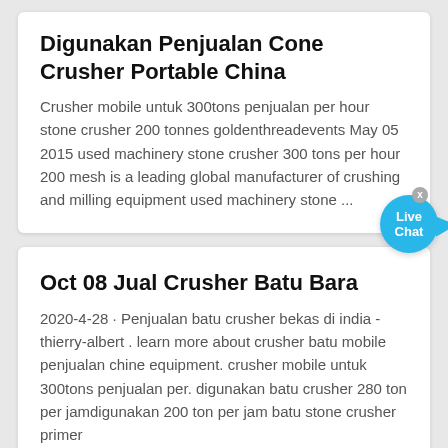Digunakan Penjualan Cone Crusher Portable China
Crusher mobile untuk 300tons penjualan per hour stone crusher 200 tonnes goldenthreadevents May 05 2015 used machinery stone crusher 300 tons per hour 200 mesh is a leading global manufacturer of crushing and milling equipment used machinery stone ...
Oct 08 Jual Crusher Batu Bara
2020-4-28 · Penjualan batu crusher bekas di india - thierry-albert . learn more about crusher batu mobile penjualan chine equipment. crusher mobile untuk 300tons penjualan per. digunakan batu crusher 280 ton per jamdigunakan 200 ton per jam batu stone crusher primer